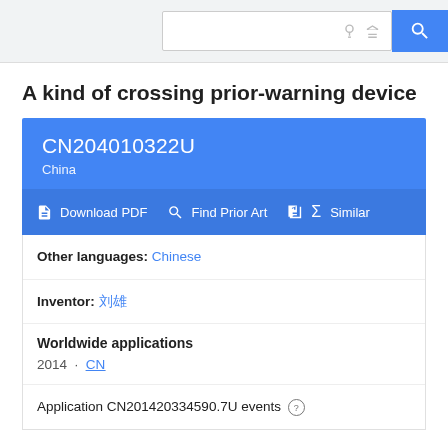Search bar with lightbulb, graduation cap and search button
A kind of crossing prior-warning device
CN204010322U
China
Download PDF  Find Prior Art  Similar
Other languages: Chinese
Inventor: 刘雄
Worldwide applications
2014 · CN
Application CN201420334590.7U events ⓘ